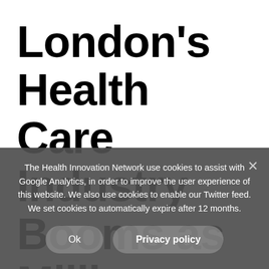London's Health Care Industry Booms as Millions are saved for the
The Health Innovation Network use cookies to assist with Google Analytics, in order to improve the user experience of this website. We also use cookies to enable our Twitter feed. We set cookies to automatically expire after 12 months.
Ok | Privacy policy